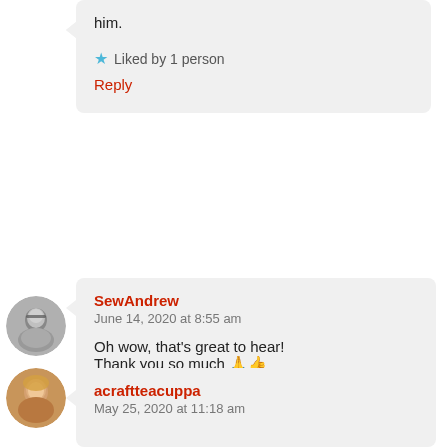him.
★ Liked by 1 person
Reply
[Figure (photo): Grayscale circular avatar of a man wearing glasses]
SewAndrew
June 14, 2020 at 8:55 am
Oh wow, that's great to hear! Thank you so much 🙏👍
★ Like
Reply
[Figure (photo): Color circular avatar of a woman with blonde hair]
acraftteacuppa
May 25, 2020 at 11:18 am